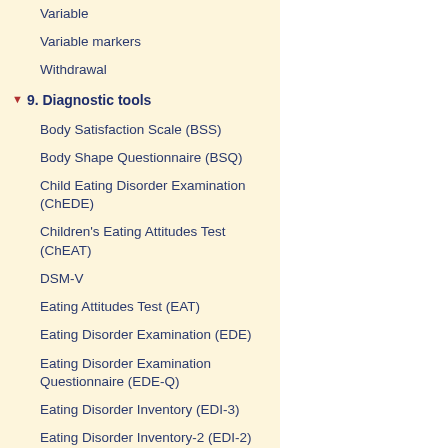Variable
Variable markers
Withdrawal
9. Diagnostic tools
Body Satisfaction Scale (BSS)
Body Shape Questionnaire (BSQ)
Child Eating Disorder Examination (ChEDE)
Children's Eating Attitudes Test (ChEAT)
DSM-V
Eating Attitudes Test (EAT)
Eating Disorder Examination (EDE)
Eating Disorder Examination Questionnaire (EDE-Q)
Eating Disorder Inventory (EDI-3)
Eating Disorder Inventory-2 (EDI-2)
Eating Disorders Inventory for Children (EDI-C)
Kids' Eating Disorders Survey (KEDS)
Questionnaire for Eating Disorder Diagnosis (Q-EDD)
Setting Conditions for Anorexia Nervosa Scale (SCANS)